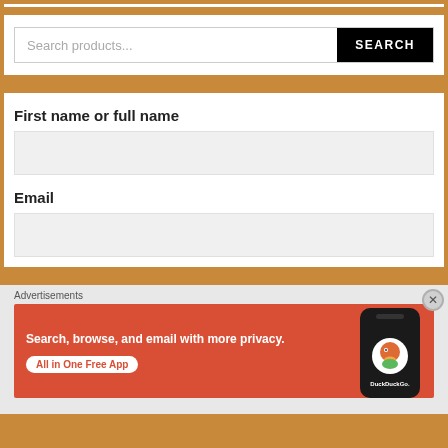Search products...
SEARCH
First name or full name
Email
Advertisements
[Figure (screenshot): DuckDuckGo advertisement banner with text 'Search, browse, and email with more privacy. All in One Free App' and a phone image with DuckDuckGo logo]
DuckDuckGo.